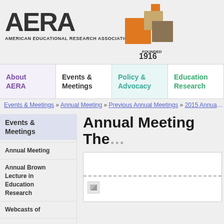[Figure (logo): AERA logo with geometric colored blocks and 'Founded 1916' text, and 'American Educational Research Association' subtitle]
About AERA | Events & Meetings | Policy & Advocacy | Education Research
Events & Meetings » Annual Meeting » Previous Annual Meetings » 2015 Annual Me...
Events & Meetings
Annual Meeting The...
Annual Meeting
Annual Brown Lecture in Education Research
Webcasts of